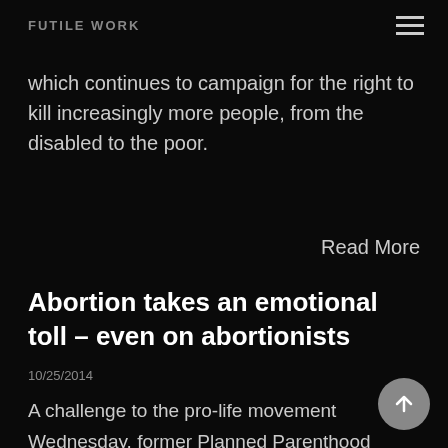FUTILE WORK
which continues to campaign for the right to kill increasingly more people, from the disabled to the poor.
Read More
Abortion takes an emotional toll – even on abortionists
10/25/2014
A challenge to the pro-life movement
Wednesday, former Planned Parenthood director and